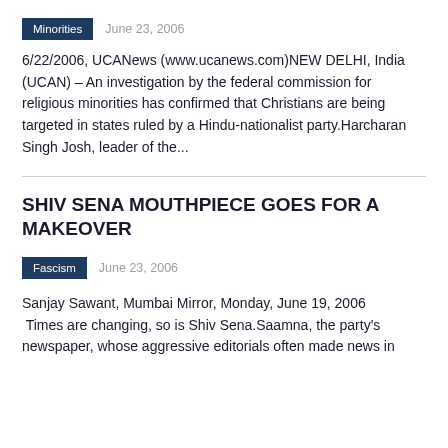Minorities   June 23, 2006
6/22/2006, UCANews (www.ucanews.com)NEW DELHI, India (UCAN) – An investigation by the federal commission for religious minorities has confirmed that Christians are being targeted in states ruled by a Hindu-nationalist party.Harcharan Singh Josh, leader of the...
SHIV SENA MOUTHPIECE GOES FOR A MAKEOVER
Fascism   June 23, 2006
Sanjay Sawant, Mumbai Mirror, Monday, June 19, 2006  Times are changing, so is Shiv Sena.Saamna, the party's newspaper, whose aggressive editorials often made news in